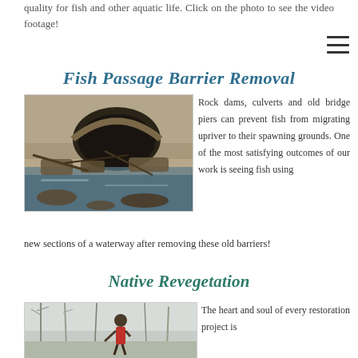quality for fish and other aquatic life. Click on the photo to see the video footage!
Fish Passage Barrier Removal
[Figure (photo): A culvert or stone arch bridge over a stream, with debris and logs visible, sunlight filtering through trees above, and water below.]
Rock dams, culverts and old bridge piers can prevent fish from migrating upriver to their spawning grounds. One of the most satisfying outcomes of our work is seeing fish using new sections of a waterway after removing these old barriers!
Native Revegetation
[Figure (photo): A person in a red jacket working among bare winter trees in a snowy or overcast landscape, for a revegetation project.]
The heart and soul of every restoration project is